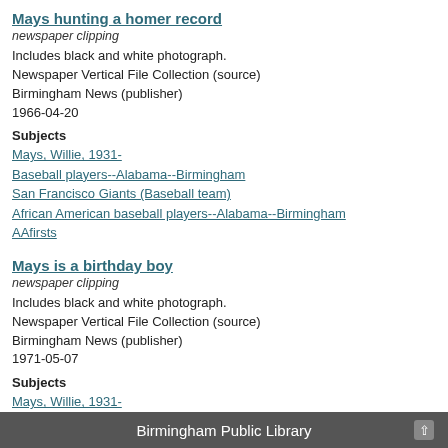Mays hunting a homer record
newspaper clipping
Includes black and white photograph.
Newspaper Vertical File Collection (source)
Birmingham News (publisher)
1966-04-20
Subjects
Mays, Willie, 1931-
Baseball players--Alabama--Birmingham
San Francisco Giants (Baseball team)
African American baseball players--Alabama--Birmingham
AAfirsts
Mays is a birthday boy
newspaper clipping
Includes black and white photograph.
Newspaper Vertical File Collection (source)
Birmingham News (publisher)
1971-05-07
Subjects
Mays, Willie, 1931-
Baseball players--Alabama--Birmingham
San Francisco Giants (Baseball team)
African American baseball players--Alabama--Birmingham
AAfirsts
Eighth wonder of the world? Willie's a solid candidate
Birmingham Public Library